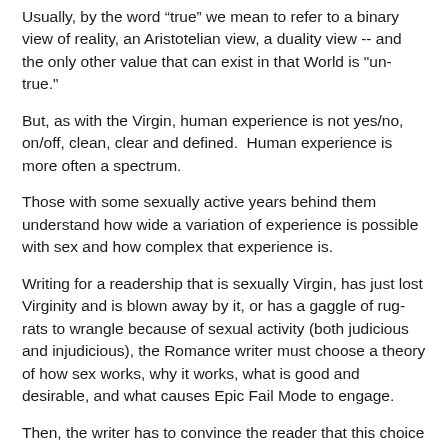Usually, by the word "true" we mean to refer to a binary view of reality, an Aristotelian view, a duality view -- and the only other value that can exist in that World is "un-true."
But, as with the Virgin, human experience is not yes/no, on/off, clean, clear and defined.  Human experience is more often a spectrum.
Those with some sexually active years behind them understand how wide a variation of experience is possible with sex and how complex that experience is.
Writing for a readership that is sexually Virgin, has just lost Virginity and is blown away by it, or has a gaggle of rug-rats to wrangle because of sexual activity (both judicious and injudicious), the Romance writer must choose a theory of how sex works, why it works, what is good and desirable, and what causes Epic Fail Mode to engage.
Then, the writer has to convince the reader that this choice is a valid one for this particular Character in this particular World.